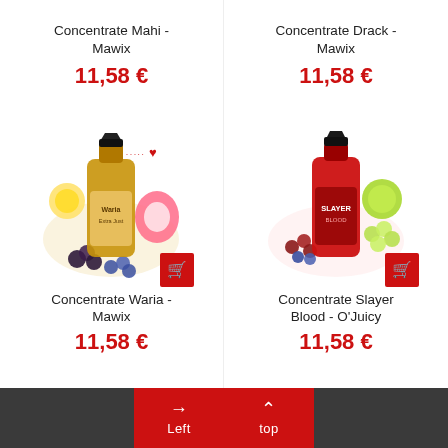Concentrate Mahi - Mawix
11,58 €
Concentrate Drack - Mawix
11,58 €
[Figure (photo): Product bottle of Concentrate Waria - Mawix, with fruits (dragonfruit, blackberries, blueberries, lemon) around it and a red heart icon]
Concentrate Waria - Mawix
11,58 €
[Figure (photo): Product bottle of Concentrate Slayer Blood - O'Juicy, red bottle with fruits (berries, lime, grapes) around it]
Concentrate Slayer Blood - O'Juicy
11,58 €
→ Left  ˄ top